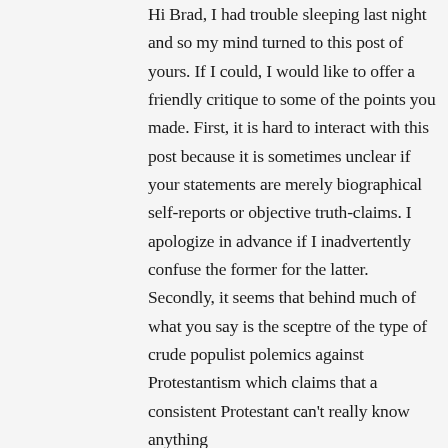Hi Brad, I had trouble sleeping last night and so my mind turned to this post of yours. If I could, I would like to offer a friendly critique to some of the points you made. First, it is hard to interact with this post because it is sometimes unclear if your statements are merely biographical self-reports or objective truth-claims. I apologize in advance if I inadvertently confuse the former for the latter. Secondly, it seems that behind much of what you say is the sceptre of the type of crude populist polemics against Protestantism which claims that a consistent Protestant can't really know anything and that...